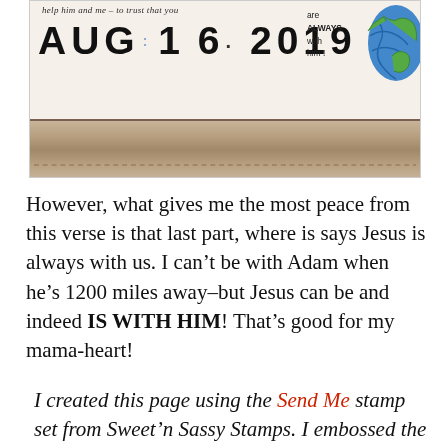[Figure (photo): A handmade journal page or card showing 'AUG 1 6. 2019' in large hand-lettered black text with small blue dots, cursive text at top reading 'help him and me – to trust that you are always with him!', a globe illustration in blue and green on the right side, and a brown leather strap or bookmark along the bottom.]
However, what gives me the most peace from this verse is that last part, where is says Jesus is always with us. I can't be with Adam when he's 1200 miles away–but Jesus can be and indeed IS WITH HIM! That's good for my mama-heart!
I created this page using the Send Me stamp set from Sweet'n Sassy Stamps. I embossed the globe onto vellum card stock, and colored